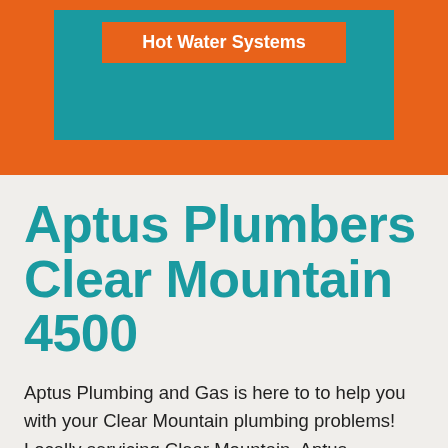[Figure (screenshot): Orange banner with teal box containing an orange button labeled 'Hot Water Systems']
Aptus Plumbers Clear Mountain 4500
Aptus Plumbing and Gas is here to to help you with your Clear Mountain plumbing problems! Locally servicing Clear Mountain, Aptus Plumbing and Gas are the experts for plumbing, gas and solar hot water.